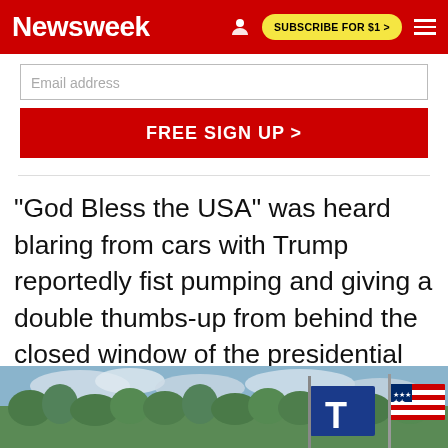Newsweek | SUBSCRIBE FOR $1 >
[Figure (screenshot): Email address input field and FREE SIGN UP button on red background]
"God Bless the USA" was heard blaring from cars with Trump reportedly fist pumping and giving a double thumbs-up from behind the closed window of the presidential state car—otherwise known as the Beast—his last trip in the vehicle before it returned to Washington.
[Figure (photo): Outdoor scene with trees, cloudy sky, Trump campaign flag and US flag visible]